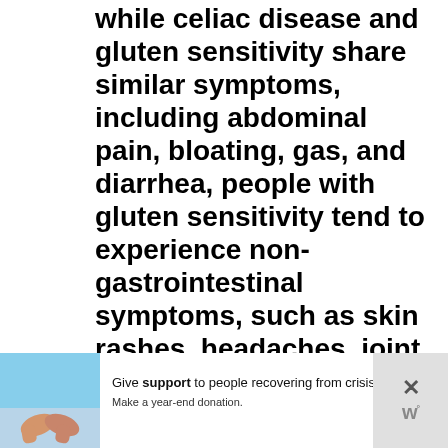while celiac disease and gluten sensitivity share similar symptoms, including abdominal pain, bloating, gas, and diarrhea, people with gluten sensitivity tend to experience non-gastrointestinal symptoms, such as skin rashes, headaches, joint and muscle pain, chronic tiredness, and limb numbness.[1]
[Figure (other): Advertisement banner showing two people holding hands with text: Give support to people recovering from crisis. Make a year-end donation.]